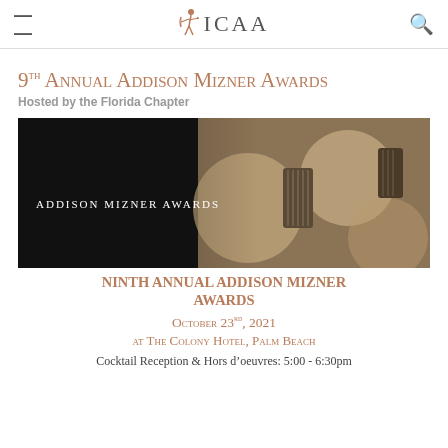ICAA
9th Annual Addison Mizner Awards
Hosted by the Florida Chapter
[Figure (photo): Dark background image showing architectural award trophies/medals — Addison Mizner Awards — with text 'Addison Mizner Awards' overlaid in white small caps on the left side.]
Ninth Annual Addison Mizner Awards
October 23rd, 2021
at The Colony Hotel, Palm Beach
Cocktail Reception & Hors d'oeuvres: 5:00 - 6:30pm